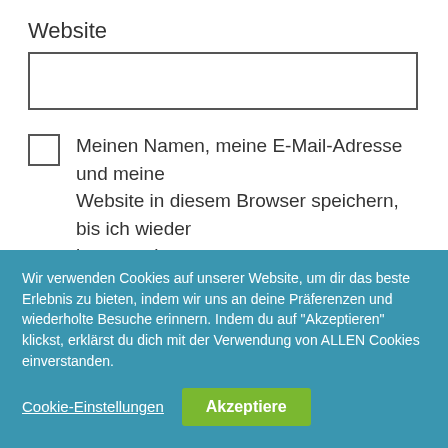Website
[Figure (screenshot): Empty text input box for website URL entry]
Meinen Namen, meine E-Mail-Adresse und meine Website in diesem Browser speichern, bis ich wieder kommentiere.
[Figure (screenshot): Dark submit button, partially visible at bottom of white form area]
Wir verwenden Cookies auf unserer Website, um dir das beste Erlebnis zu bieten, indem wir uns an deine Präferenzen und wiederholte Besuche erinnern. Indem du auf "Akzeptieren" klickst, erklärst du dich mit der Verwendung von ALLEN Cookies einverstanden.
Cookie-Einstellungen
Akzeptiere